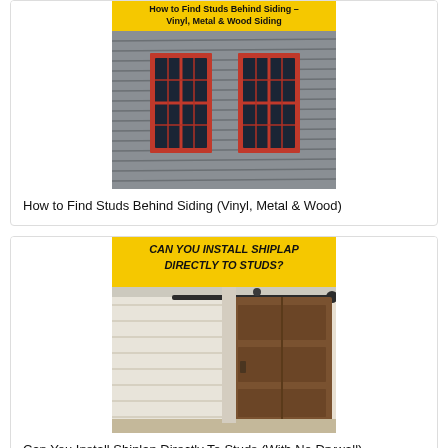[Figure (photo): Blog article card showing a house exterior with gray wood siding and two red-framed windows. Yellow banner at top reads about finding studs behind Vinyl, Metal & Wood Siding.]
How to Find Studs Behind Siding (Vinyl, Metal & Wood)
[Figure (photo): Blog article card showing a room interior with white shiplap walls and a rustic barn door on a sliding rail. Yellow banner at top reads CAN YOU INSTALL SHIPLAP DIRECTLY TO STUDS?]
Can You Install Shiplap Directly To Studs (With No Drywall)